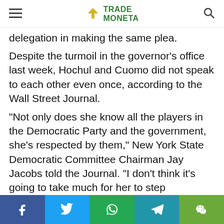TRADE MONETA
delegation in making the same plea.
Despite the turmoil in the governor's office last week, Hochul and Cuomo did not speak to each other even once, according to the Wall Street Journal.
"Not only does she know all the players in the Democratic Party and the government, she's respected by them," New York State Democratic Committee Chairman Jay Jacobs told the Journal. "I don't think it's going to take much for her to step
This website uses cookies. Read More Accept
Social share bar: Facebook, Twitter, WhatsApp, Telegram, WeChat